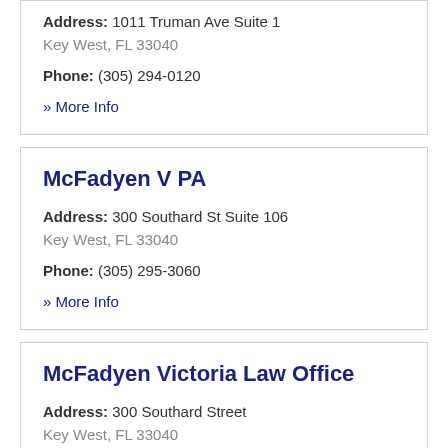Address: 1011 Truman Ave Suite 1
Key West, FL 33040
Phone: (305) 294-0120
» More Info
McFadyen V PA
Address: 300 Southard St Suite 106
Key West, FL 33040
Phone: (305) 295-3060
» More Info
McFadyen Victoria Law Office
Address: 300 Southard Street
Key West, FL 33040